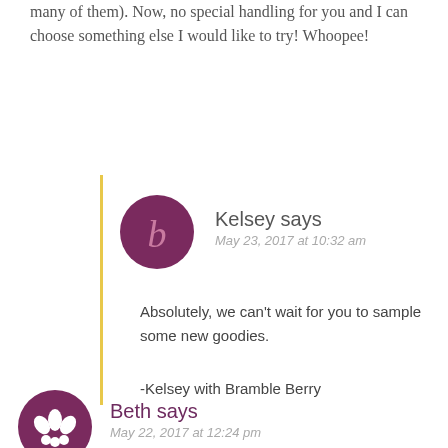many of them). Now, no special handling for you and I can choose something else I would like to try! Whoopee!
Kelsey says
May 23, 2017 at 10:32 am
Absolutely, we can't wait for you to sample some new goodies.
-Kelsey with Bramble Berry
Beth says
May 22, 2017 at 12:24 pm